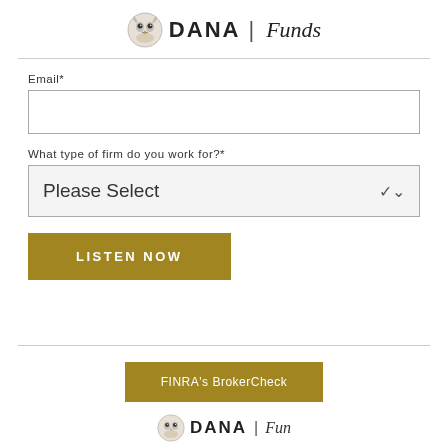[Figure (logo): DANA Funds logo with owl illustration and text 'DANA | Funds']
Email*
What type of firm do you work for?*
Please Select
LISTEN NOW
FINRA's BrokerCheck
[Figure (logo): DANA Funds logo (partial, footer)]